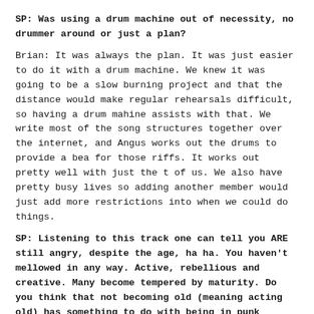SP: Was using a drum machine out of necessity, no drummer around or just a plan?
Brian: It was always the plan. It was just easier to do it with a drum machine. We knew it was going to be a slow burning project and that the distance would make regular rehearsals difficult, so having a drum mahine assists with that. We write most of the song structures together over the internet, and Angus works out the drums to provide a bea for those riffs. It works out pretty well with just the two of us. We also have pretty busy lives so adding another member would just add more restrictions into when we could do things.
SP: Listening to this track one can tell you ARE still angry, despite the age, ha ha. You haven't mellowed in any way. Active, rebellious and creative. Many become tempered by maturity. Do you think that not becoming old (meaning acting old) has something to do with being in punk movement...